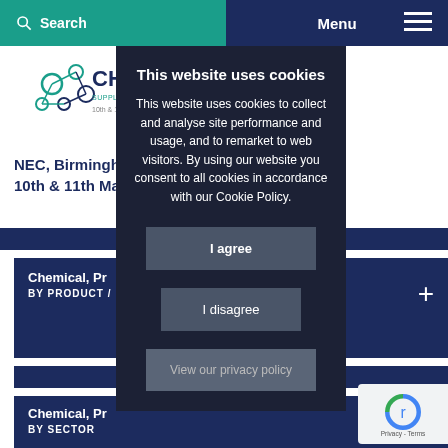Search   Menu
[Figure (logo): CHEMU Supply Chain + Processing logo with molecule graphic]
NEC, Birmingham
10th & 11th May
Chemical, Pr
BY PRODUCT /
Chemical, Pr
BY SECTOR
This website uses cookies
This website uses cookies to collect and analyse site performance and usage, and to remarket to web visitors. By using our website you consent to all cookies in accordance with our Cookie Policy.
I agree
I disagree
View our privacy policy